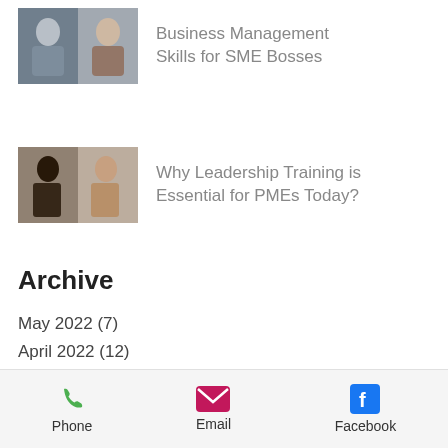[Figure (photo): Thumbnail photo of two people in a business meeting setting]
Business Management Skills for SME Bosses
[Figure (photo): Thumbnail photo of two women in a leadership/discussion setting]
Why Leadership Training is Essential for PMEs Today?
Archive
May 2022 (7)
April 2022 (12)
March 2022 (2)
February 2022 (1)
December 2020 (1)
May 2018 (1)
January 2018 (1)
Phone   Email   Facebook